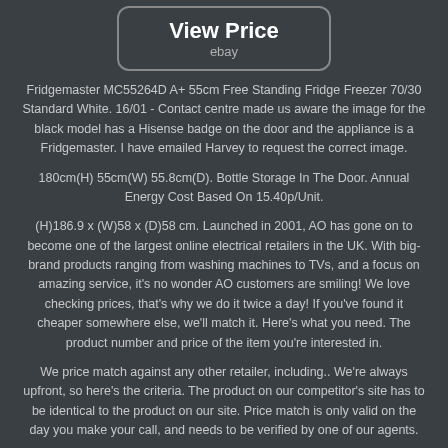[Figure (other): View Price button with ebay label]
Fridgemaster MC55264D A+ 55cm Free Standing Fridge Freezer 70/30 Standard White. 16/01 - Contact centre made us aware the image for the black model has a Hisense badge on the door and the appliance is a Fridgemaster. I have emailed Harvey to request the correct image.
180cm(H) 55cm(W) 55.8cm(D). Bottle Storage In The Door. Annual Energy Cost Based On 15.40p/Unit.
(H)186.9 x (W)58 x (D)58 cm. Launched in 2001, AO has gone on to become one of the largest online electrical retailers in the UK. With big-brand products ranging from washing machines to TVs, and a focus on amazing service, it's no wonder AO customers are smiling! We love checking prices, that's why we do it twice a day! If you've found it cheaper somewhere else, we'll match it. Here's what you need. The product number and price of the item you're interested in.
We price match against any other retailer, including.. We're always upfront, so here's the criteria. The product on our competitor's site has to be identical to the product on our site. Price match is only valid on the day you make your call, and needs to be verified by one of our agents.
The offer is not transferable. Honesty's always our policy, so we'll give you clear commitments and genuine offers. Any terms and conditions will be in large print, not small print - no ifs, no buts and no hidden catches. From the moment you first visit us and for as long as we're in touch, we'll